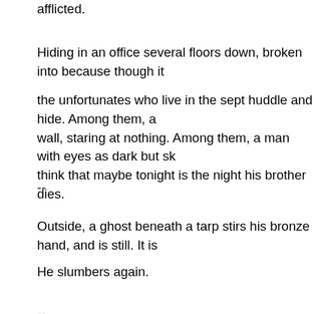afflicted.
Hiding in an office several floors down, broken into because though it
the unfortunates who live in the sept huddle and hide. Among them, a wall, staring at nothing. Among them, a man with eyes as dark but sk think that maybe tonight is the night his brother dies.
--
Outside, a ghost beneath a tarp stirs his bronze hand, and is still. It is
He slumbers again.
--
Word gets around soon, because it has to:
the Guardians of Cold Crescent are dead. The Guardians of Cold Cre witnessed it and came down the cables in the elevator shaft when the they tried to stop, but could not.
Perhaps even: sickened by what they were able to do.